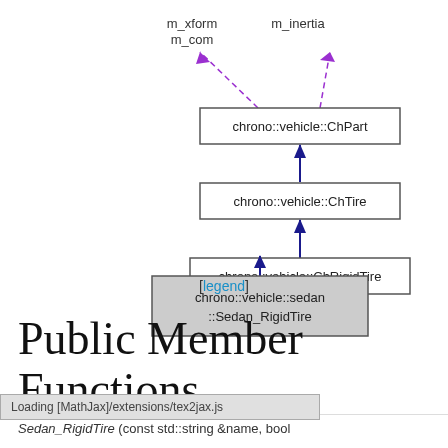[Figure (engineering-diagram): UML class inheritance diagram showing: chrono::vehicle::sedan::Sedan_RigidTire inherits from chrono::vehicle::ChRigidTire, which inherits from chrono::vehicle::ChTire, which inherits from chrono::vehicle::ChPart. ChPart has two dashed purple dependency arrows pointing up-right labeled m_inertia and m_xform/m_com.]
[legend]
Public Member Functions
Loading [MathJax]/extensions/tex2jax.js
Sedan_RigidTire (const std::string &name, bool